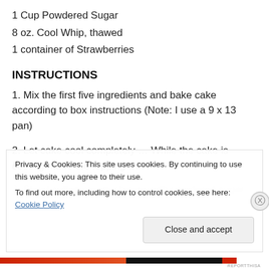1 Cup Powdered Sugar
8 oz. Cool Whip, thawed
1 container of Strawberries
INSTRUCTIONS
1. Mix the first five ingredients and bake cake according to box instructions (Note: I use a 9 x 13 pan)
2. Let cake cool completely … While the cake is cooling make the topping …
3. Blend soften cream cheese with powdered sugar
Privacy & Cookies: This site uses cookies. By continuing to use this website, you agree to their use.
To find out more, including how to control cookies, see here: Cookie Policy
Close and accept